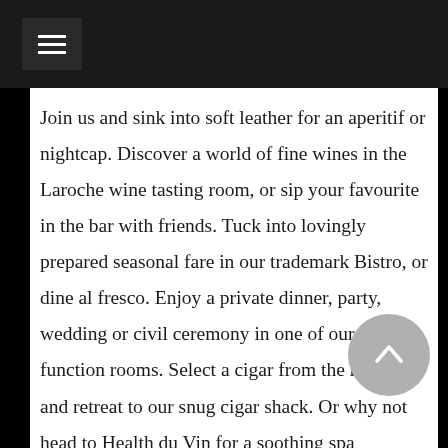Join us and sink into soft leather for an aperitif or nightcap. Discover a world of fine wines in the Laroche wine tasting room, or sip your favourite in the bar with friends. Tuck into lovingly prepared seasonal fare in our trademark Bistro, or dine al fresco. Enjoy a private dinner, party, wedding or civil ceremony in one of our quirky function rooms. Select a cigar from the humidor and retreat to our snug cigar shack. Or why not head to Health du Vin for a soothing spa treatment? And, when you're ready for a peaceful slumber, bid goodnight and glide up to one of our 49